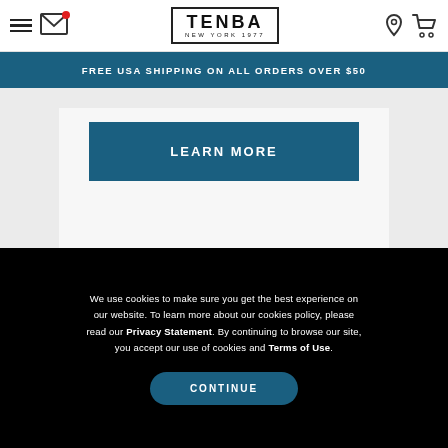TENBA NEW YORK 1977
FREE USA SHIPPING ON ALL ORDERS OVER $50
[Figure (screenshot): Blue 'LEARN MORE' button on a light gray card background]
[Figure (infographic): Carousel pagination dots: one filled dark blue dot followed by three lighter empty dots]
We use cookies to make sure you get the best experience on our website. To learn more about our cookies policy, please read our Privacy Statement. By continuing to browse our site, you accept our use of cookies and Terms of Use.
CONTINUE